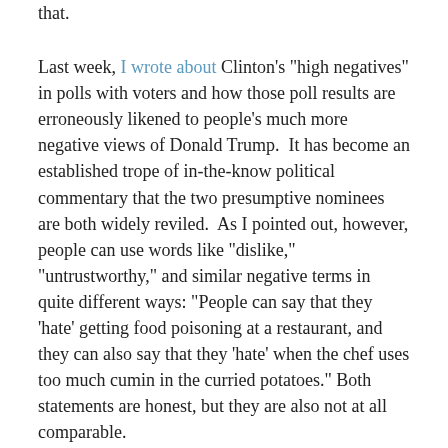that.
Last week, I wrote about Clinton's "high negatives" in polls with voters and how those poll results are erroneously likened to people's much more negative views of Donald Trump.  It has become an established trope of in-the-know political commentary that the two presumptive nominees are both widely reviled.  As I pointed out, however, people can use words like "dislike," "untrustworthy," and similar negative terms in quite different ways: "People can say that they 'hate' getting food poisoning at a restaurant, and they can also say that they 'hate' when the chef uses too much cumin in the curried potatoes." Both statements are honest, but they are also not at all comparable.
Still, many Republicans will tell you that Hillary Clinton is like food poisoning, not merely an